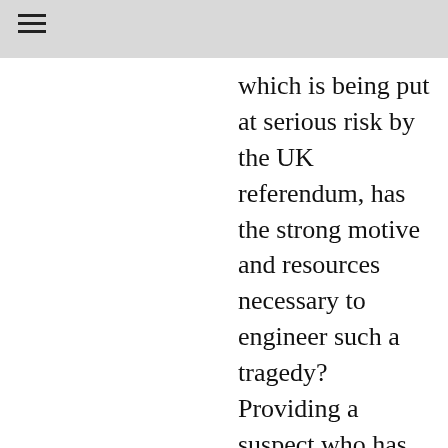which is being put at serious risk by the UK referendum, has the strong motive and resources necessary to engineer such a tragedy? Providing a suspect who has supposed connections to, or was at least possibly influenced by, the “far right”,